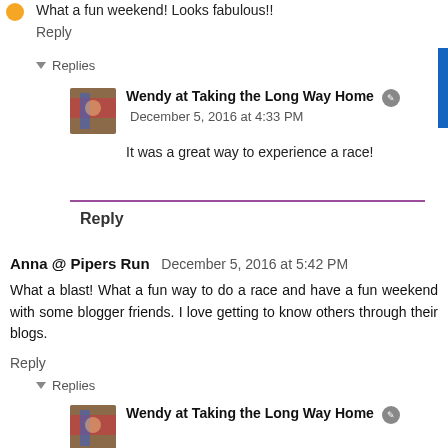What a fun weekend! Looks fabulous!!
Reply
▾ Replies
Wendy at Taking the Long Way Home
December 5, 2016 at 4:33 PM
It was a great way to experience a race!
Reply
Anna @ Pipers Run   December 5, 2016 at 5:42 PM
What a blast! What a fun way to do a race and have a fun weekend with some blogger friends. I love getting to know others through their blogs.
Reply
▾ Replies
Wendy at Taking the Long Way Home